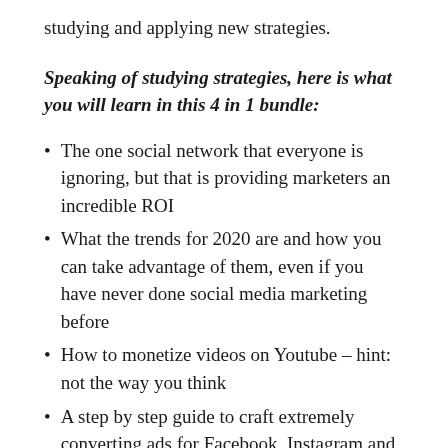studying and applying new strategies.
Speaking of studying strategies, here is what you will learn in this 4 in 1 bundle:
The one social network that everyone is ignoring, but that is providing marketers an incredible ROI
What the trends for 2020 are and how you can take advantage of them, even if you have never done social media marketing before
How to monetize videos on Youtube – hint: not the way you think
A step by step guide to craft extremely converting ads for Facebook, Instagram and a third secret platform that has huge